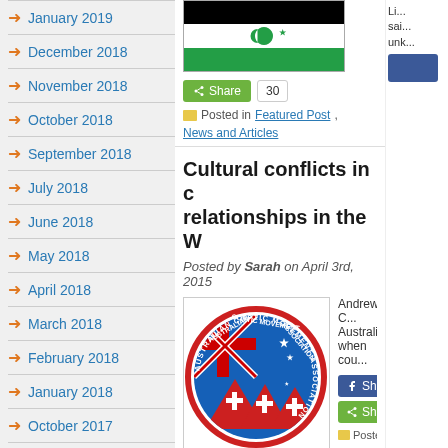January 2019
December 2018
November 2018
October 2018
September 2018
July 2018
June 2018
May 2018
April 2018
March 2018
February 2018
January 2018
October 2017
September 2017
[Figure (illustration): Libya flag - black, red and green horizontal stripes with white crescent and star]
Share  30
Posted in Featured Post, News and Articles
Cultural conflicts in c... relationships in the W...
Posted by Sarah on April 3rd, 2015
[Figure (logo): Australian Coptic Movement Association logo - circular badge with Australian flag and crosses on pyramids]
Andrew C... Australian... when cou...
Share
Share
Posted